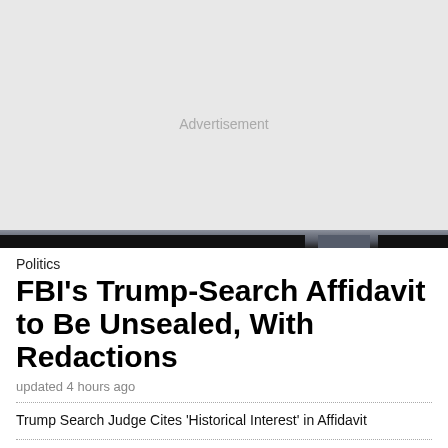[Figure (other): Advertisement placeholder area — light gray background with 'Advertisement' label centered]
Politics
FBI's Trump-Search Affidavit to Be Unsealed, With Redactions
updated 4 hours ago
Trump Search Judge Cites 'Historical Interest' in Affidavit
Opinion: Trump's Behavior Strengthens Case Against Him
Georgia Governor Kemp's Lawyers Argue He Can't Be Subpoenaed in 2020 Trump Probe